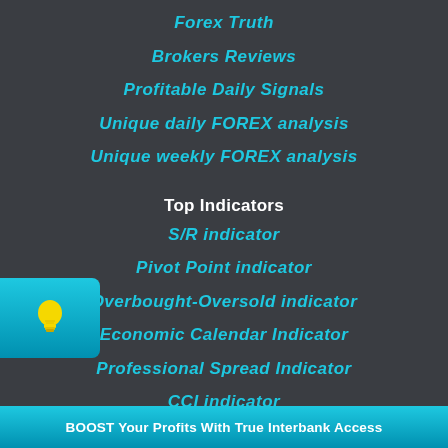Forex Truth
Brokers Reviews
Profitable Daily Signals
Unique daily FOREX analysis
Unique weekly FOREX analysis
Top Indicators
S/R indicator
Pivot Point indicator
Overbought-Oversold indicator
Economic Calendar Indicator
Professional Spread Indicator
CCI indicator
[Figure (illustration): Light bulb icon in a cyan/blue rounded rectangle on the left side]
BOOST Your Profits With True Interbank Access